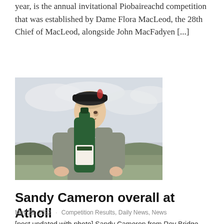year, is the annual invitational Piobaireachd competition that was established by Dame Flora MacLeod, the 28th Chief of MacLeod, alongside John MacFadyen [...]
[Figure (photo): Young man in a dark cap and tweed jacket holding a large green bottle/trophy, smiling outdoors with overcast sky and trees/hills in the background.]
Sandy Cameron overall at Atholl
May 29, 2022 · Competition Results, Daily News, News
[post updated with photo] Sandy Cameron from Roy Bridge